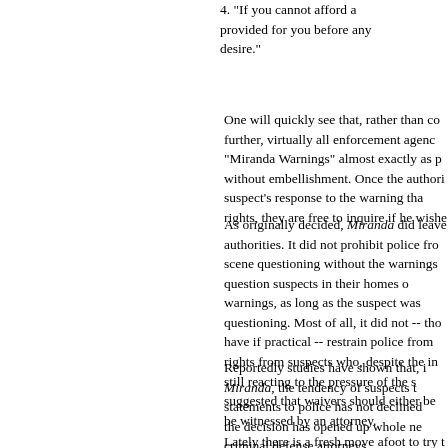4. "If you cannot afford a [attorney], one will be provided for you before any questioning if you desire."
One will quickly see that, rather than co... further, virtually all enforcement agencies give "Miranda Warnings" almost exactly as prescribed, without embellishment. Once the authorities ascertain the suspect's response to the warning that he has these rights, they are free to inquire if he wishes to talk.
As originally decided, Miranda did leave some room for authorities. It did not prohibit police from on-the-scene questioning without the warnings, or from question suspects in their homes or without warnings, as long as the suspect was not in custody questioning. Most of all, it did not -- though it could have if practical -- restrain police from obtaining rights waivers from suspects who, despite the interrogation, still reacting to the pressure of the situation. It suggested that waivers should either be recorded or be witnessed by an attorney.
Reportedly studies have shown that, in spite of Miranda, the tendency of suspects to make statements to police has not declined significantly, the decision has opened up whole new vistas for criminal defense attorneys.
Lately there is a fresh move afoot to try t...